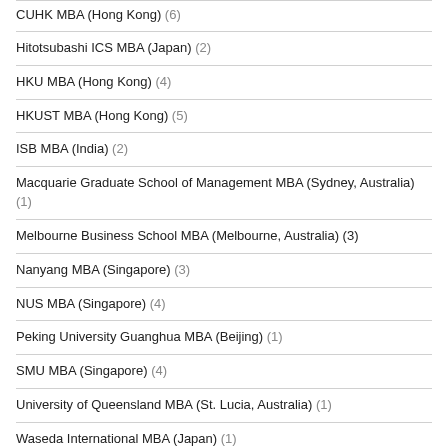CUHK MBA (Hong Kong) (6)
Hitotsubashi ICS MBA (Japan) (2)
HKU MBA (Hong Kong) (4)
HKUST MBA (Hong Kong) (5)
ISB MBA (India) (2)
Macquarie Graduate School of Management MBA (Sydney, Australia) (1)
Melbourne Business School MBA (Melbourne, Australia) (3)
Nanyang MBA (Singapore) (3)
NUS MBA (Singapore) (4)
Peking University Guanghua MBA (Beijing) (1)
SMU MBA (Singapore) (4)
University of Queensland MBA (St. Lucia, Australia) (1)
Waseda International MBA (Japan) (1)